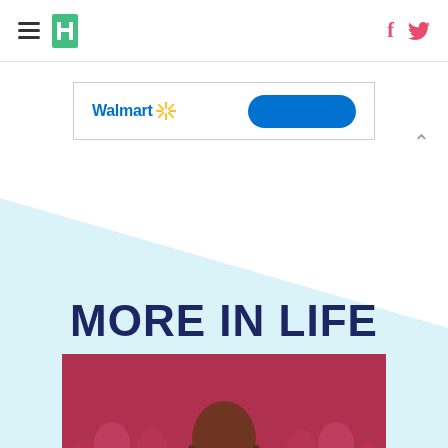HuffPost navigation with hamburger menu, logo, Facebook and Twitter icons
[Figure (other): Walmart advertisement banner with Walmart logo, spark icon, and blue button]
MORE IN LIFE
[Figure (photo): Woman with long curly brown hair wearing a white tiered dress, viewed from behind, surrounded by multiple mirror reflections of herself in pink/magenta dresses with red-tinted duplicates on a pink-red background]